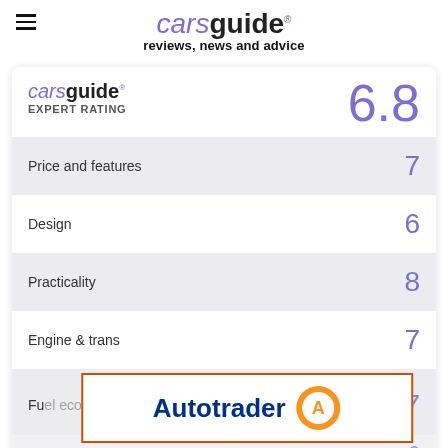carsguide reviews, news and advice
carsguide EXPERT RATING 6.8
Price and features 7
Design 6
Practicality 8
Engine & trans 7
Fu... 7
[Figure (logo): Autotrader advertisement banner with orange globe logo and blue Autotrader text, bordered in orange]